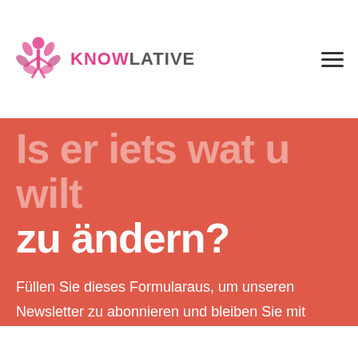KNOWLATIVE
zu ändern?
Füllen Sie dieses Formularaus, um unseren Newsletter zu abonnieren und bleiben Sie mit unseren Neuigkeiten auf dem Laufenden